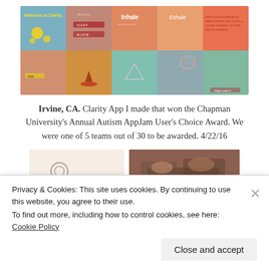[Figure (screenshot): Screenshot of Clarity App showing multiple screens with mindfulness/meditation UI including beach scene, breathing prompts 'Inhale' and 'Exhale', geometric shapes, boat on water, and inspirational text.]
Irvine, CA. Clarity App I made that won the Chapman University's Annual Autism AppJam User's Choice Award. We were one of 5 teams out of 30 to be awarded. 4/22/16
[Figure (screenshot): Partial screenshots of two additional app or web project images, one with a light beige background showing a circle icon, and one showing hands on a laptop keyboard.]
Privacy & Cookies: This site uses cookies. By continuing to use this website, you agree to their use.
To find out more, including how to control cookies, see here: Cookie Policy
Close and accept